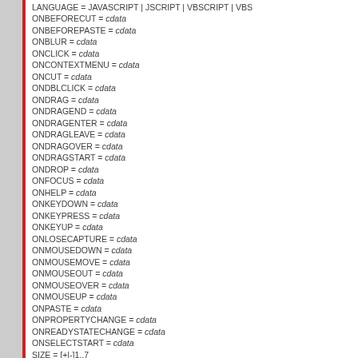LANGUAGE = JAVASCRIPT | JSCRIPT | VBSCRIPT | VBS
ONBEFORECUT = cdata
ONBEFOREPASTE = cdata
ONBLUR = cdata
ONCLICK = cdata
ONCONTEXTMENU = cdata
ONCUT = cdata
ONDBLCLICK = cdata
ONDRAG = cdata
ONDRAGEND = cdata
ONDRAGENTER = cdata
ONDRAGLEAVE = cdata
ONDRAGOVER = cdata
ONDRAGSTART = cdata
ONDROP = cdata
ONFOCUS = cdata
ONHELP = cdata
ONKEYDOWN = cdata
ONKEYPRESS = cdata
ONKEYUP = cdata
ONLOSECAPTURE = cdata
ONMOUSEDOWN = cdata
ONMOUSEMOVE = cdata
ONMOUSEOUT = cdata
ONMOUSEOVER = cdata
ONMOUSEUP = cdata
ONPASTE = cdata
ONPROPERTYCHANGE = cdata
ONREADYSTATECHANGE = cdata
ONSELECTSTART = cdata
SIZE = [+|-]1..7
STYLE = cdata